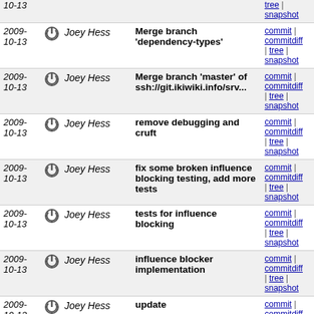| Date | Author | Message | Links |
| --- | --- | --- | --- |
| 2009-10-13 | Joey Hess | Merge branch 'dependency-types' | commit | commitdiff | tree | snapshot |
| 2009-10-13 | Joey Hess | Merge branch 'master' of ssh://git.ikiwiki.info/srv... | commit | commitdiff | tree | snapshot |
| 2009-10-13 | Joey Hess | remove debugging and cruft | commit | commitdiff | tree | snapshot |
| 2009-10-13 | Joey Hess | fix some broken influence blocking testing, add more tests | commit | commitdiff | tree | snapshot |
| 2009-10-13 | Joey Hess | tests for influence blocking | commit | commitdiff | tree | snapshot |
| 2009-10-13 | Joey Hess | influence blocker implementation | commit | commitdiff | tree | snapshot |
| 2009-10-13 | Joey Hess | update | commit | commitdiff | tree | snapshot |
| 2009-10-13 | http://jeremiahfoste... | Added a question about permissions. | commit | commitdiff | tree | snapshot |
| 2009-10-13 | Joey Hess | match_link: dynamic influence needed for page that... | commit | commitdiff | tree | snapshot |
| 2009-10-13 | lnussel | add shortcut for novell bugzilla | commit | commitdiff |